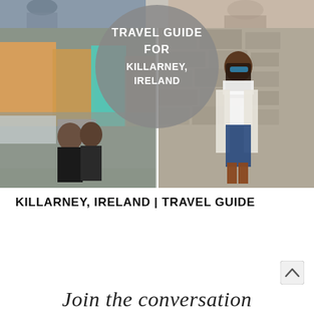[Figure (photo): Photo collage of Killarney, Ireland travel photos. Top strip shows two small photos. Main area shows two large photos side-by-side: left photo shows a couple posing on a Killarney street with colorful shopfronts, right photo shows a woman in white top, jeans and brown boots posing against a stone wall. Overlaid circular graphic with text TRAVEL GUIDE FOR KILLARNEY, IRELAND.]
KILLARNEY, IRELAND | TRAVEL GUIDE
Join the conversation